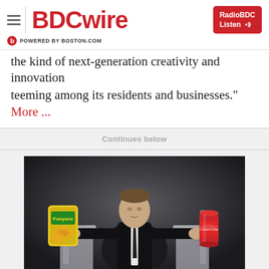BDCwire — POWERED BY BOSTON.COM — RadioBDC Listen
the kind of next-generation creativity and innovation teeming among its residents and businesses." More ...
Continues below
[Figure (photo): A man in a dark suit seated in a throne-like chair, holding a bag of Funyuns in his left hand and a Coca-Cola can in his right hand, posed in a dramatic, dark editorial photo style.]
TV  9 AM 03.03.2015